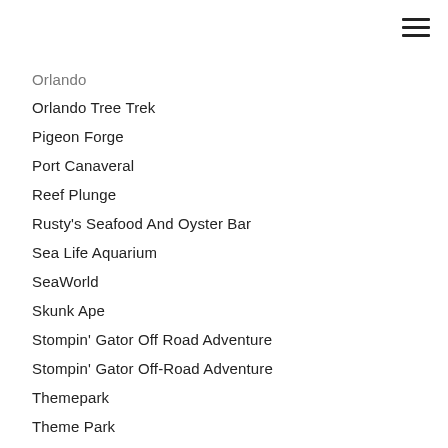Orlando (partial/clipped)
Orlando Tree Trek
Pigeon Forge
Port Canaveral
Reef Plunge
Rusty's Seafood And Oyster Bar
Sea Life Aquarium
SeaWorld
Skunk Ape
Stompin' Gator Off Road Adventure
Stompin' Gator Off-Road Adventure
Themepark
Theme Park
The Wizarding World Of Harry Potter
Universal Orlando
Universal Orlando Resort
Universal Studios